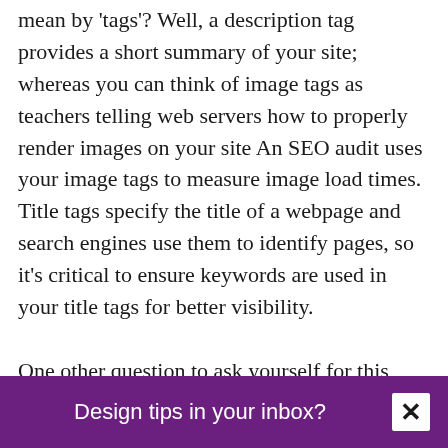mean by 'tags'? Well, a description tag provides a short summary of your site; whereas you can think of image tags as teachers telling web servers how to properly render images on your site An SEO audit uses your image tags to measure image load times. Title tags specify the title of a webpage and search engines use them to identify pages, so it's critical to ensure keywords are used in your title tags for better visibility.

One other question to ask yourself for this type of website audit is are other websites
Design tips in your inbox?